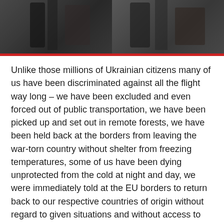[Figure (photo): Photograph showing people with backpacks and luggage, cropped to show torsos and bags, suggesting refugees or travelers at a transit point.]
Unlike those millions of Ukrainian citizens many of us have been discriminated against all the flight way long – we have been excluded and even forced out of public transportation, we have been picked up and set out in remote forests, we have been held back at the borders from leaving the war-torn country without shelter from freezing temperatures, some of us have been dying unprotected from the cold at night and day, we were immediately told at the EU borders to return back to our respective countries of origin without regard to given situations and without access to refugee protection measures …
The EU-Council was very fast to announce that Ukrainian citizens will be granted unequivocal protection inside EU territories including unconditional access to social and medical care, work and education under temporary